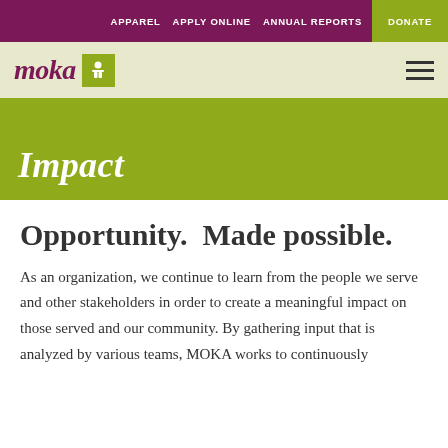APPAREL  APPLY ONLINE  ANNUAL REPORTS  DONATE
[Figure (logo): Moka logo with stylized text 'moka' in italic maroon and a green square icon with a white person symbol, plus hamburger menu icon on the right]
Impact
Opportunity. Made possible.
As an organization, we continue to learn from the people we serve and other stakeholders in order to create a meaningful impact on those served and our community. By gathering input that is analyzed by various teams, MOKA works to continuously